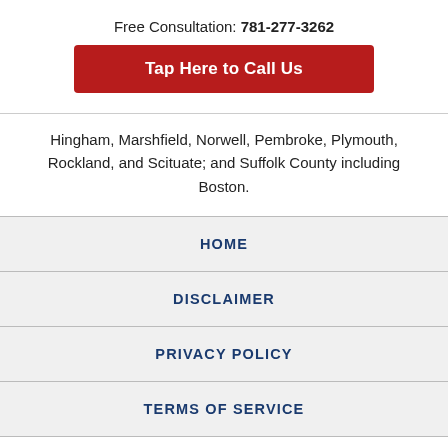Free Consultation: 781-277-3262
Tap Here to Call Us
Hingham, Marshfield, Norwell, Pembroke, Plymouth, Rockland, and Scituate; and Suffolk County including Boston.
HOME
DISCLAIMER
PRIVACY POLICY
TERMS OF SERVICE